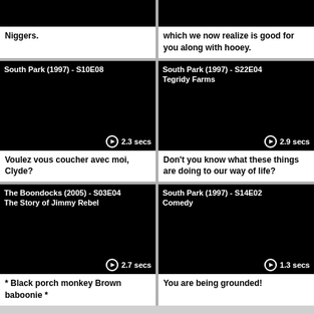[Figure (screenshot): Video thumbnail black - partial top, left cell]
Niggers.
[Figure (screenshot): Video thumbnail black - partial top, right cell]
which we now realize is good for you along with hooey.
[Figure (screenshot): South Park (1997) - S10E08 video thumbnail, 2.3 secs]
Voulez vous coucher avec moi, Clyde?
[Figure (screenshot): South Park (1997) - S22E04 Tegridy Farms video thumbnail, 2.9 secs]
Don't you know what these things are doing to our way of life?
[Figure (screenshot): The Boondocks (2005) - S03E04 The Story of Jimmy Rebel video thumbnail, 2.7 secs]
* Black porch monkey Brown baboonie *
[Figure (screenshot): South Park (1997) - S14E02 Comedy video thumbnail, 1.3 secs]
You are being grounded!